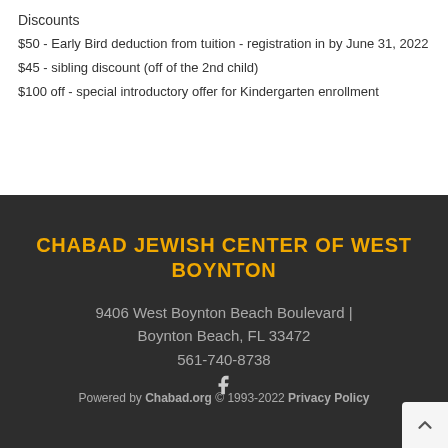Discounts
$50 - Early Bird deduction from tuition - registration in by June 31, 2022
$45  - sibling discount (off of the 2nd child)
$100 off - special introductory offer for Kindergarten enrollment
CHABAD JEWISH CENTER OF WEST BOYNTON
9406 West Boynton Beach Boulevard | Boynton Beach, FL 33472
561-740-8738
Powered by Chabad.org © 1993-2022 Privacy Policy
[Figure (logo): Facebook icon in light gray]
[Figure (other): Back to top button with upward chevron arrow]